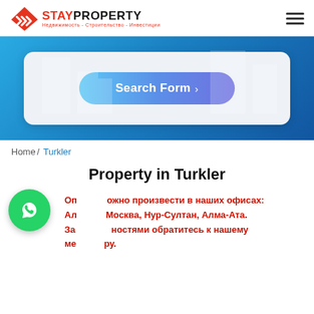StayProperty — Недвижимость - Строительство - Инвестиции
[Figure (screenshot): Hero banner with blue gradient background and a search form card containing a 'Search Form >' button with gradient blue styling]
Home / Turkler
Property in Turkler
Оплату можно произвести в наших офисах: Алматы, Москва, Нур-Султан, Алма-Ата. За подробностями обратитесь к нашему менеджеру.